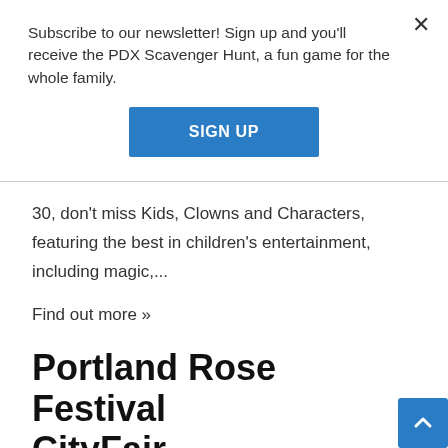Subscribe to our newsletter! Sign up and you'll receive the PDX Scavenger Hunt, a fun game for the whole family.
SIGN UP
30, don't miss Kids, Clowns and Characters, featuring the best in children's entertainment, including magic,...
Find out more »
Portland Rose Festival CityFair
May 29 @ 12:00 pm - 9:00 pm
Recurring Event (See all)